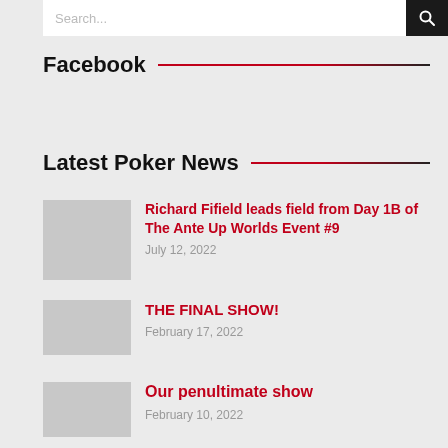Search...
Facebook
Latest Poker News
Richard Fifield leads field from Day 1B of The Ante Up Worlds Event #9
July 12, 2022
THE FINAL SHOW!
February 17, 2022
Our penultimate show
February 10, 2022